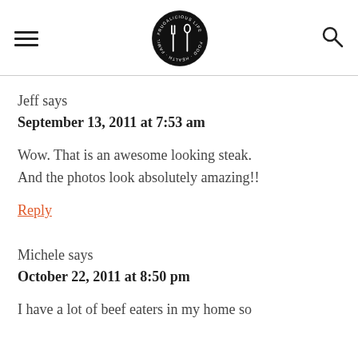[hamburger menu] [Frugalicious Life logo] [search icon]
Jeff says
September 13, 2011 at 7:53 am
Wow. That is an awesome looking steak. And the photos look absolutely amazing!!
Reply
Michele says
October 22, 2011 at 8:50 pm
I have a lot of beef eaters in my home so